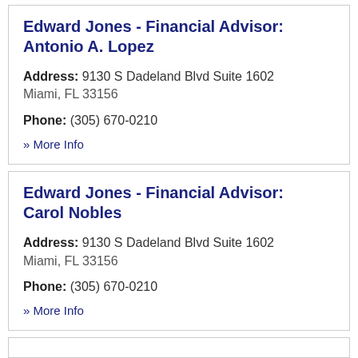Edward Jones - Financial Advisor: Antonio A. Lopez
Address: 9130 S Dadeland Blvd Suite 1602 Miami, FL 33156
Phone: (305) 670-0210
» More Info
Edward Jones - Financial Advisor: Carol Nobles
Address: 9130 S Dadeland Blvd Suite 1602 Miami, FL 33156
Phone: (305) 670-0210
» More Info